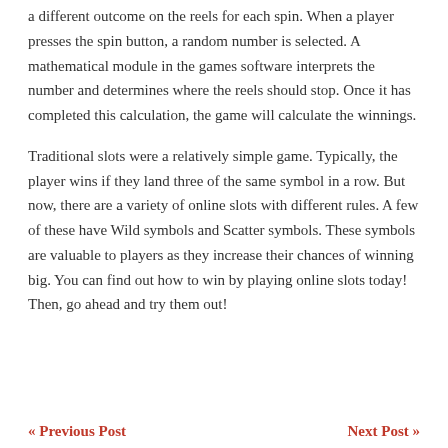a different outcome on the reels for each spin. When a player presses the spin button, a random number is selected. A mathematical module in the games software interprets the number and determines where the reels should stop. Once it has completed this calculation, the game will calculate the winnings.
Traditional slots were a relatively simple game. Typically, the player wins if they land three of the same symbol in a row. But now, there are a variety of online slots with different rules. A few of these have Wild symbols and Scatter symbols. These symbols are valuable to players as they increase their chances of winning big. You can find out how to win by playing online slots today! Then, go ahead and try them out!
« Previous Post    Next Post »